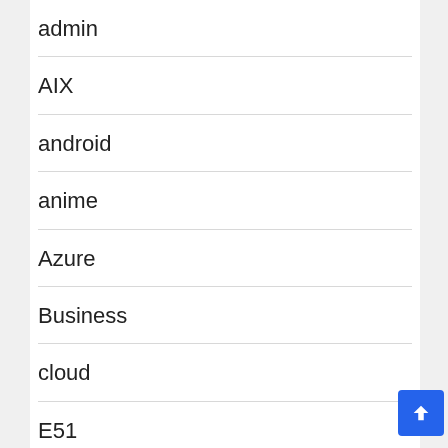admin
AIX
android
anime
Azure
Business
cloud
E51
eatinerary